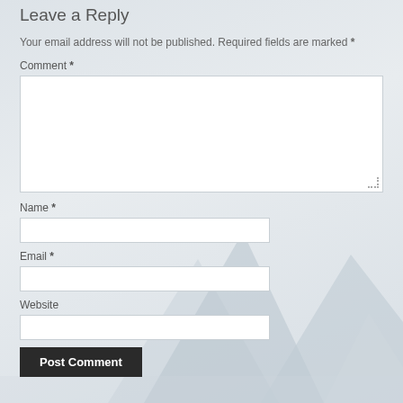Leave a Reply
Your email address will not be published. Required fields are marked *
Comment *
Name *
Email *
Website
Post Comment